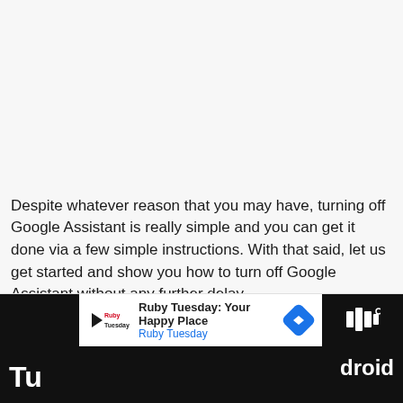[Figure (other): Large blank/white area taking up the top portion of the page, likely an image placeholder]
Despite whatever reason that you may have, turning off Google Assistant is really simple and you can get it done via a few simple instructions. With that said, let us get started and show you how to turn off Google Assistant without any further delay.
[Figure (other): Advertisement bar: Ruby Tuesday: Your Happy Place - Ruby Tuesday logo with navigation arrow icon]
Tu... droid